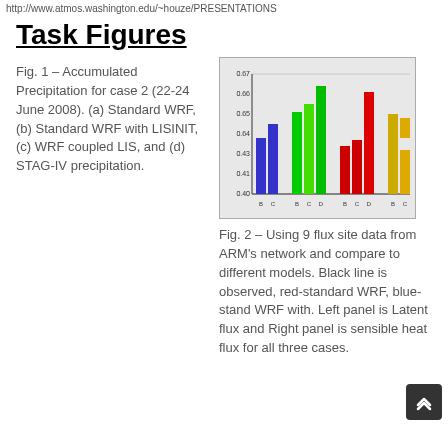http://www.atmos.washington.edu/~houze/PRESENTATIONS
Task Figures
Fig. 1 – Accumulated Precipitation for case 2 (22-24 June 2008). (a) Standard WRF, (b) Standard WRF with LISINIT, (c) WRF coupled LIS, and (d) STAG-IV precipitation.
[Figure (bar-chart): Accumulated Precipitation bar chart]
Fig. 2 – Using 9 flux site data from ARM's network and compare to different models. Black line is observed, red-standard WRF, blue-stand WRF with. Left panel is Latent flux and Right panel is sensible heat flux for all three cases.